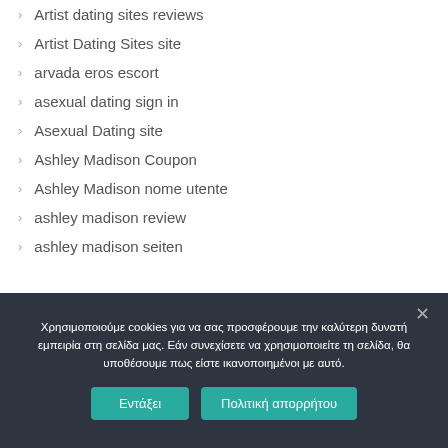Artist dating sites reviews
Artist Dating Sites site
arvada eros escort
asexual dating sign in
Asexual Dating site
Ashley Madison Coupon
Ashley Madison nome utente
ashley madison review
ashley madison seiten
Χρησιμοποιούμε cookies για να σας προσφέρουμε την καλύτερη δυνατή εμπειρία στη σελίδα μας. Εάν συνεχίσετε να χρησιμοποιείτε τη σελίδα, θα υποθέσουμε πως είστε ικανοποιημένοι με αυτό.
Εντάξει   Πολιτική απορρήτου